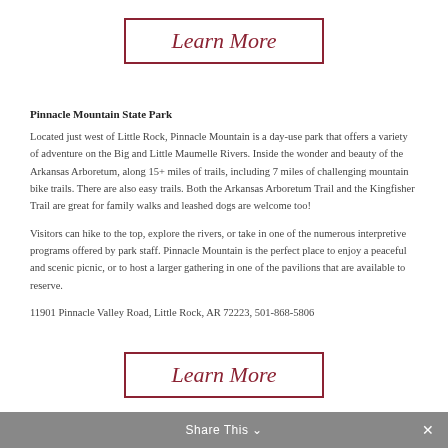[Figure (other): Learn More button with dark red border at top of page]
Pinnacle Mountain State Park
Located just west of Little Rock, Pinnacle Mountain is a day-use park that offers a variety of adventure on the Big and Little Maumelle Rivers. Inside the wonder and beauty of the Arkansas Arboretum, along 15+ miles of trails, including 7 miles of challenging mountain bike trails. There are also easy trails. Both the Arkansas Arboretum Trail and the Kingfisher Trail are great for family walks and leashed dogs are welcome too!
Visitors can hike to the top, explore the rivers, or take in one of the numerous interpretive programs offered by park staff. Pinnacle Mountain is the perfect place to enjoy a peaceful and scenic picnic, or to host a larger gathering in one of the pavilions that are available to reserve.
11901 Pinnacle Valley Road, Little Rock, AR 72223, 501-868-5806
[Figure (other): Learn More button with dark red border at bottom of page]
Share This ✓ ×